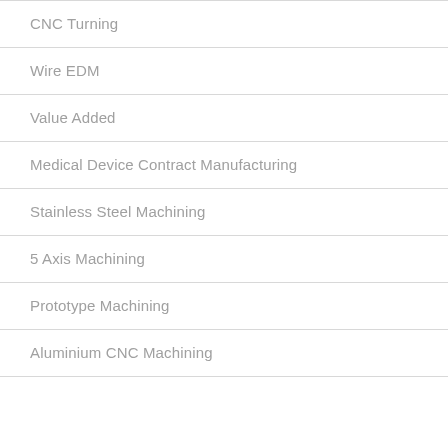CNC Turning
Wire EDM
Value Added
Medical Device Contract Manufacturing
Stainless Steel Machining
5 Axis Machining
Prototype Machining
Aluminium CNC Machining